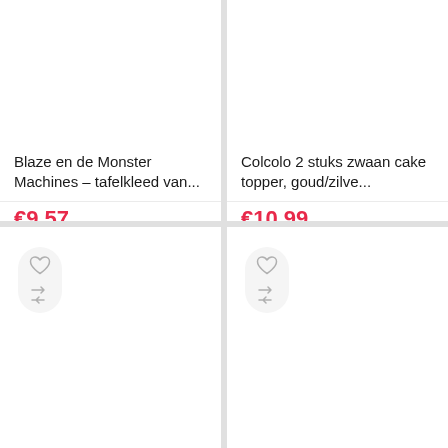Blaze en de Monster Machines – tafelkleed van...
€9.57
Colcolo 2 stuks zwaan cake topper, goud/zilve...
€10.99
[Figure (screenshot): Product card bottom-left with heart and compare icons in a pill button]
[Figure (screenshot): Product card bottom-right with heart and compare icons in a pill button]